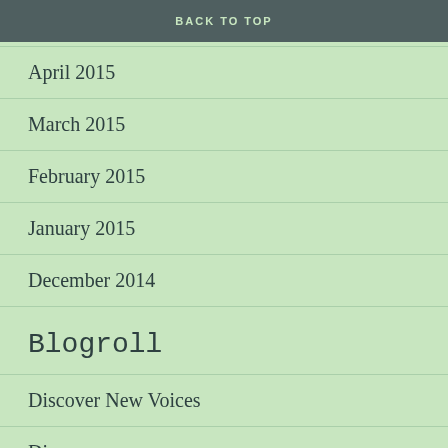BACK TO TOP
April 2015
March 2015
February 2015
January 2015
December 2014
Blogroll
Discover New Voices
Discuss